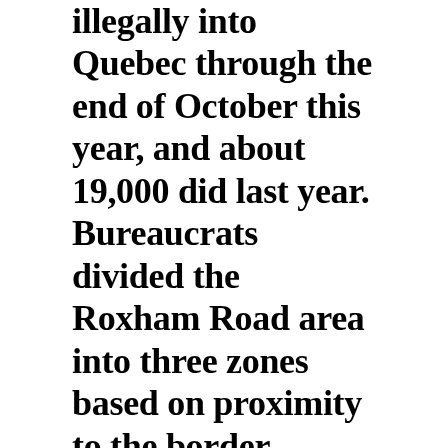illegally into Quebec through the end of October this year, and about 19,000 did last year. Bureaucrats divided the Roxham Road area into three zones based on proximity to the border. People living in the closest zone are eligible to receive up to $25,000, those in the next closest